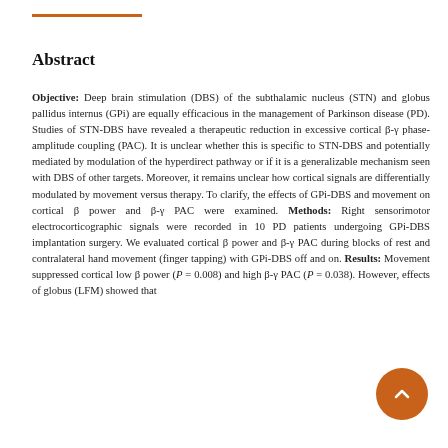Abstract
Objective: Deep brain stimulation (DBS) of the subthalamic nucleus (STN) and globus pallidus internus (GPi) are equally efficacious in the management of Parkinson disease (PD). Studies of STN-DBS have revealed a therapeutic reduction in excessive cortical β-γ phase-amplitude coupling (PAC). It is unclear whether this is specific to STN-DBS and potentially mediated by modulation of the hyperdirect pathway or if it is a generalizable mechanism seen with DBS of other targets. Moreover, it remains unclear how cortical signals are differentially modulated by movement versus therapy. To clarify, the effects of GPi-DBS and movement on cortical β power and β-γ PAC were examined. Methods: Right sensorimotor electrocorticographic signals were recorded in 10 PD patients undergoing GPi-DBS implantation surgery. We evaluated cortical β power and β-γ PAC during blocks of rest and contralateral hand movement (finger tapping) with GPi-DBS off and on. Results: Movement suppressed cortical low β power (P = 0.008) and high β-γ PAC (P = 0.038). However, effects of globus (LFM) showed that